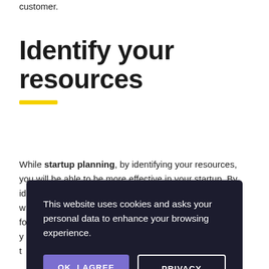customer.
Identify your resources
While startup planning, by identifying your resources, you will be able to be more effective in your startup. By identifying your resources, you will be able to work more effectively for your startup. By identifying your resources, you will be able to make your startup more effective.
This website uses cookies and asks your personal data to enhance your browsing experience.
OK, I AGREE
PRIVACY POLICY